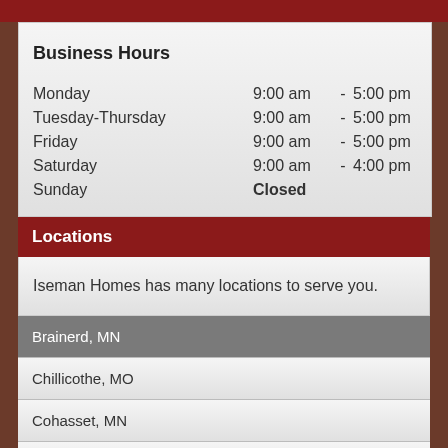Business Hours
| Day | Open |  | Close |
| --- | --- | --- | --- |
| Monday | 9:00 am | - | 5:00 pm |
| Tuesday-Thursday | 9:00 am | - | 5:00 pm |
| Friday | 9:00 am | - | 5:00 pm |
| Saturday | 9:00 am | - | 4:00 pm |
| Sunday | Closed |  |  |
Locations
Iseman Homes has many locations to serve you.
Brainerd, MN
Chillicothe, MO
Cohasset, MN
Gillette, WY